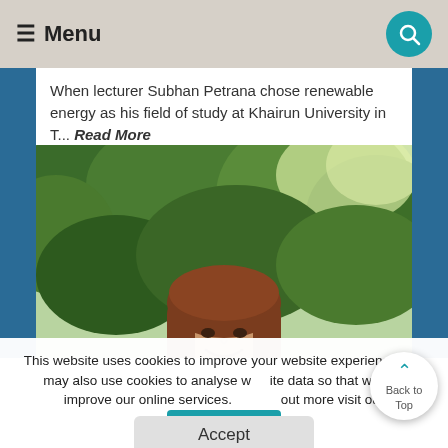≡ Menu
When lecturer Subhan Petrana chose renewable energy as his field of study at Khairun University in T... Read More
[Figure (photo): Close-up photo of a smiling woman with long brown hair against a background of green trees and foliage]
This website uses cookies to improve your website experience. We may also use cookies to analyse website data so that we can improve our online services. To find out more visit our privacy policy.
Accept